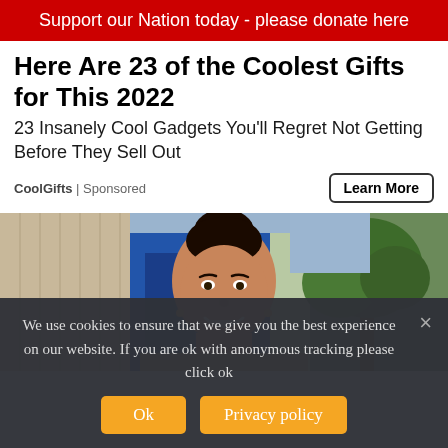Support our Nation today - please donate here
Here Are 23 of the Coolest Gifts for This 2022
23 Insanely Cool Gadgets You'll Regret Not Getting Before They Sell Out
CoolGifts | Sponsored
Learn More
[Figure (photo): Smiling young woman with hair up in a bun, photographed outdoors in front of a building with blue doors and a tree in the background]
We use cookies to ensure that we give you the best experience on our website. If you are ok with anonymous tracking please click ok
Ok
Privacy policy